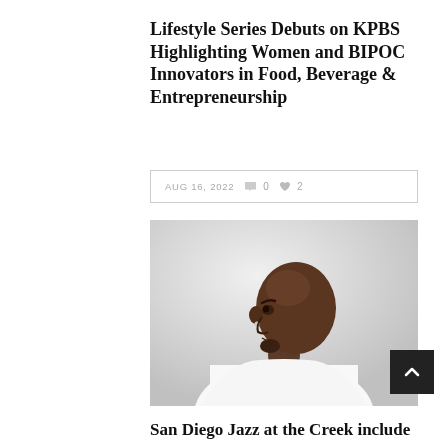Lifestyle Series Debuts on KPBS Highlighting Women and BIPOC Innovators in Food, Beverage & Entrepreneurship
AUG 16, 2022  0  2
[Figure (photo): Black and white portrait photo of a bald man with a small beard and earring, wearing a white collarless shirt, looking to the side, photographed against a light background.]
San Diego Jazz at the Creek include